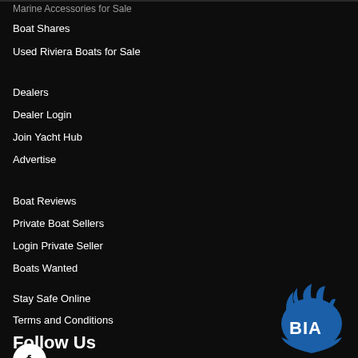Marine Accessories for Sale
Boat Shares
Used Riviera Boats for Sale
Dealers
Dealer Login
Join Yacht Hub
Advertise
Boat Reviews
Private Boat Sellers
Login Private Seller
Boats Wanted
Stay Safe Online
Terms and Conditions
Follow Us
[Figure (logo): BIA (Boating Industry Association) logo — blue flame/fish shape with BIA text in white]
[Figure (logo): Facebook icon in a white circle]